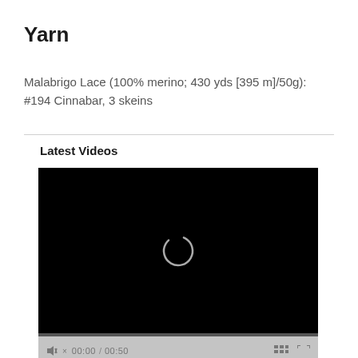Yarn
Malabrigo Lace (100% merino; 430 yds [395 m]/50g): #194 Cinnabar, 3 skeins
Latest Videos
[Figure (screenshot): Video player showing a black screen with a loading spinner icon (circle) in the center, and video controls at the bottom showing mute icon, time 00:00 / 00:50, a grid/playlist icon, and a fullscreen icon on a grey control bar.]